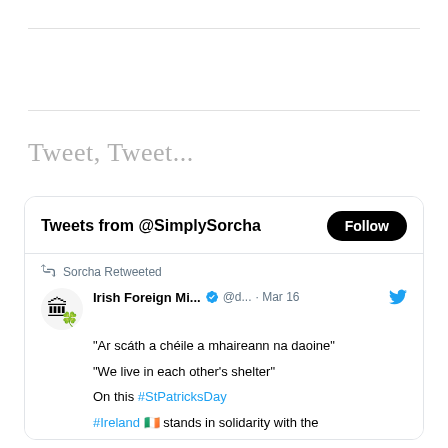Tweet, Tweet...
[Figure (screenshot): Embedded Twitter widget showing tweets from @SimplySorcha. Contains a retweet from Irish Foreign Ministry (@d...) dated Mar 16 with the text: "Ar scáth a chéile a mhaireann na daoine" / "We live in each other's shelter" / On this #StPatricksDay / #Ireland 🇮🇪 stands in solidarity with the]